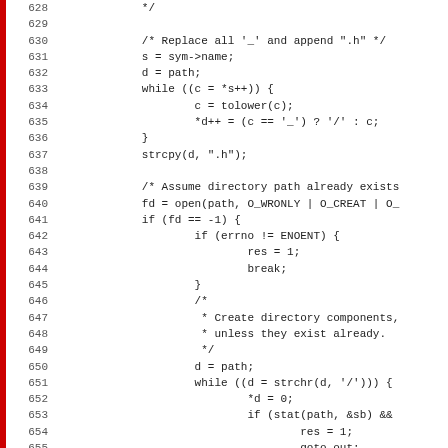[Figure (screenshot): Source code listing in C, lines 628-659, showing file path construction and directory creation logic using tolower, strcpy, open, mkdir system calls.]